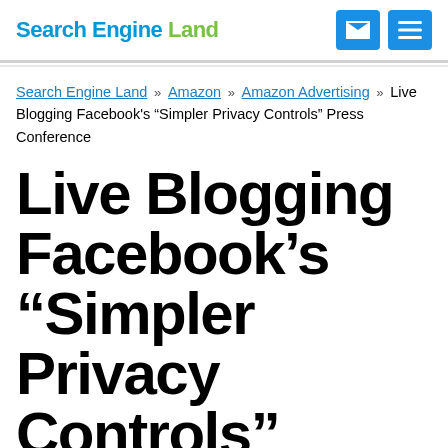Search Engine Land
Search Engine Land » Amazon » Amazon Advertising » Live Blogging Facebook's “Simpler Privacy Controls” Press Conference
Live Blogging Facebook’s “Simpler Privacy Controls” Press Conference
Facebook is holding a special press conference today at their headquarters